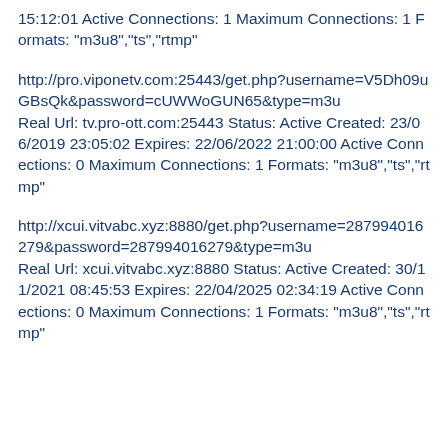15:12:01 Active Connections: 1 Maximum Connections: 1 Formats: "m3u8","ts","rtmp"
http://pro.viponetv.com:25443/get.php?username=V5Dh09uGBsQk&password=cUWWoGUN65&type=m3u
Real Url: tv.pro-ott.com:25443 Status: Active Created: 23/06/2019 23:05:02 Expires: 22/06/2022 21:00:00 Active Connections: 0 Maximum Connections: 1 Formats: "m3u8","ts","rtmp"
http://xcui.vitvabc.xyz:8880/get.php?username=287994016279&password=287994016279&type=m3u
Real Url: xcui.vitvabc.xyz:8880 Status: Active Created: 30/11/2021 08:45:53 Expires: 22/04/2025 02:34:19 Active Connections: 0 Maximum Connections: 1 Formats: "m3u8","ts","rtmp"